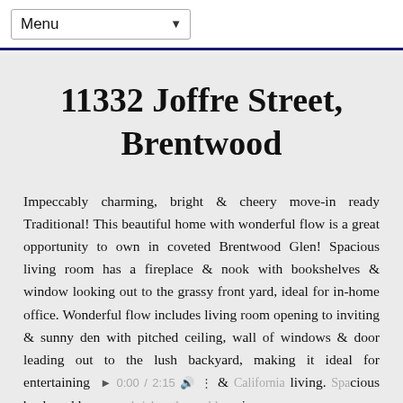Menu
11332 Joffre Street, Brentwood
Impeccably charming, bright & cheery move-in ready Traditional! This beautiful home with wonderful flow is a great opportunity to own in coveted Brentwood Glen! Spacious living room has a fireplace & nook with bookshelves & window looking out to the grassy front yard, ideal for in-home office. Wonderful flow includes living room opening to inviting & sunny den with pitched ceiling, wall of windows & door leading out to the lush backyard, making it ideal for entertaining & California living. Spacious backyard has grass, brick pathway, blooming